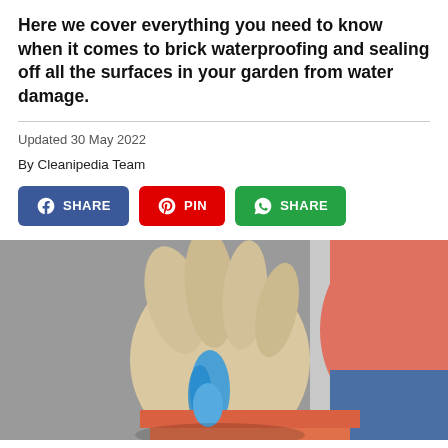Here we cover everything you need to know when it comes to brick waterproofing and sealing off all the surfaces in your garden from water damage.
Updated 30 May 2022
By Cleanipedia Team
[Figure (infographic): Three social sharing buttons: Facebook Share (blue), Pinterest Pin (red), WhatsApp Share (green)]
[Figure (photo): A gloved hand applying blue waterproofing sealant with a brush. A person in coral/pink top and blue jeans is visible in the background. The background is grey.]